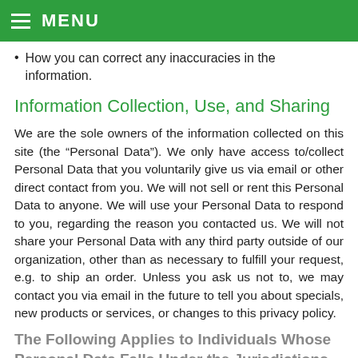MENU
How you can correct any inaccuracies in the information.
Information Collection, Use, and Sharing
We are the sole owners of the information collected on this site (the “Personal Data”). We only have access to/collect Personal Data that you voluntarily give us via email or other direct contact from you. We will not sell or rent this Personal Data to anyone. We will use your Personal Data to respond to you, regarding the reason you contacted us. We will not share your Personal Data with any third party outside of our organization, other than as necessary to fulfill your request, e.g. to ship an order. Unless you ask us not to, we may contact you via email in the future to tell you about specials, new products or services, or changes to this privacy policy.
The Following Applies to Individuals Whose Personal Data Falls Under the Jurisdictions Subject to the E.U.’s General Data Protection Regulation (GDPR)